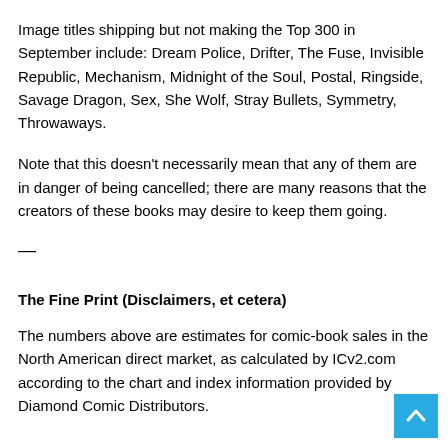Image titles shipping but not making the Top 300 in September include: Dream Police, Drifter, The Fuse, Invisible Republic, Mechanism, Midnight of the Soul, Postal, Ringside, Savage Dragon, Sex, She Wolf, Stray Bullets, Symmetry, Throwaways.
Note that this doesn't necessarily mean that any of them are in danger of being cancelled; there are many reasons that the creators of these books may desire to keep them going.
—
The Fine Print (Disclaimers, et cetera)
The numbers above are estimates for comic-book sales in the North American direct market, as calculated by ICv2.com according to the chart and index information provided by Diamond Comic Distributors.